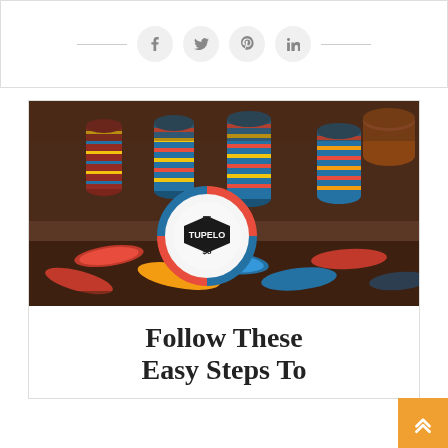[Figure (other): Social share bar with horizontal lines and circular icons for Facebook, Twitter, Pinterest, and LinkedIn]
[Figure (photo): Close-up photograph of colorful casino poker chips stacked on a table, including a prominent Tupelo $5 chip in the foreground]
Follow These Easy Steps To